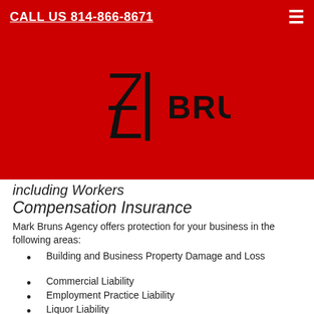CALL US 814-866-8671
[Figure (logo): Bruns Agency logo: stylized '3' with vertical bar and the word BRUNS in bold black on red background]
including Workers Compensation Insurance
Mark Bruns Agency offers protection for your business in the following areas:
Building and Business Property Damage and Loss
Commercial Liability
Employment Practice Liability
Liquor Liability
Lost Business Income
Loss of Records
Extraordinary Expenses
Moneys and Securities
Food Safety